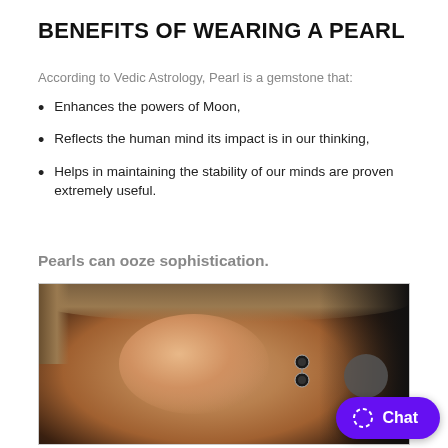BENEFITS OF WEARING A PEARL
According to Vedic Astrology, Pearl is a gemstone that:
Enhances the powers of Moon,
Reflects the human mind its impact is in our thinking,
Helps in maintaining the stability of our minds are proven extremely useful.
Pearls can ooze sophistication.
[Figure (photo): Close-up photograph of a woman with short blonde hair and pearl drop earrings, smiling.]